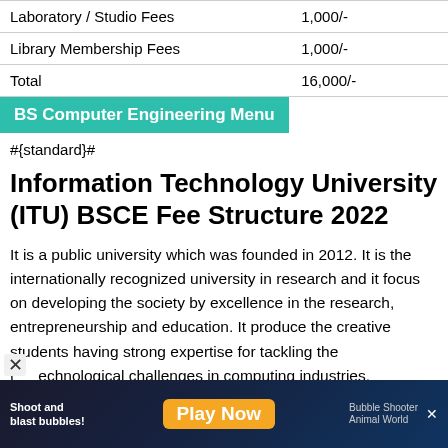| Fee Type | Amount |
| --- | --- |
| Laboratory / Studio Fees | 1,000/- |
| Library Membership Fees | 1,000/- |
| Total | 16,000/- |
BS Computer Engineering Menu
#{standard}#
Information Technology University (ITU) BSCE Fee Structure 2022
It is a public university which was founded in 2012. It is the internationally recognized university in research and it focus on developing the society by excellence in the research, entrepreneurship and education. It produce the creative students having strong expertise for tackling the technological challenges in computing industries.
[Figure (other): Advertisement banner: Bubble shooter game ad with 'Shoot and blast bubbles!' text and 'Play Now' button, Bubble Shooter Animal World branding]